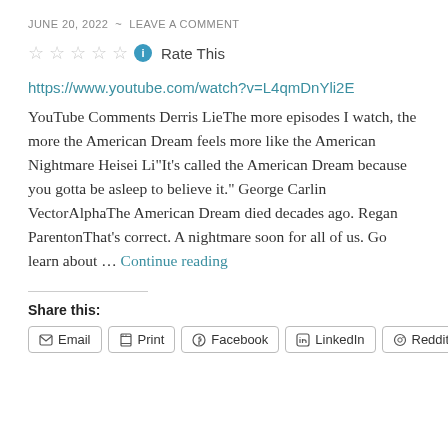JUNE 20, 2022 ~ LEAVE A COMMENT
Rate This (star rating widget)
https://www.youtube.com/watch?v=L4qmDnYli2E YouTube Comments Derris LieThe more episodes I watch, the more the American Dream feels more like the American Nightmare Heisei Li"It's called the American Dream because you gotta be asleep to believe it." George Carlin VectorAlphaThe American Dream died decades ago. Regan ParentonThat's correct. A nightmare soon for all of us. Go learn about … Continue reading
Share this:
Email  Print  Facebook  LinkedIn  Reddit